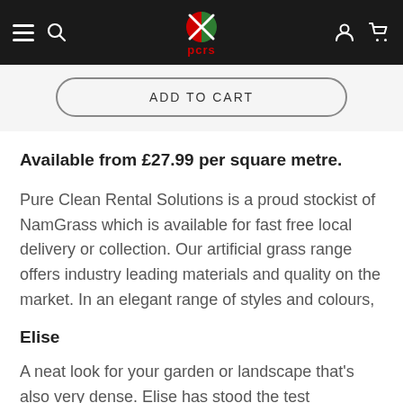pcrs — navigation header with hamburger menu, search, logo, account and cart icons
ADD TO CART
Available from £27.99 per square metre.
Pure Clean Rental Solutions is a proud stockist of NamGrass which is available for fast free local delivery or collection. Our artificial grass range offers industry leading materials and quality on the market. In an elegant range of styles and colours,
Elise
A neat look for your garden or landscape that's also very dense. Elise has stood the test